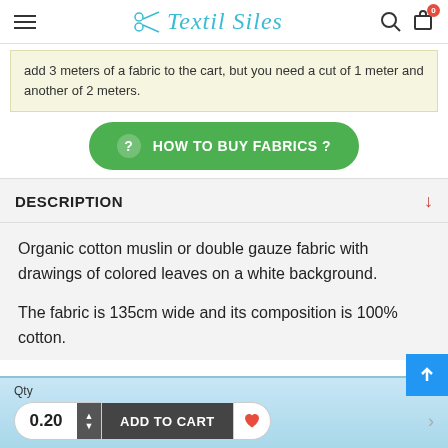Textil Siles
add 3 meters of a fabric to the cart, but you need a cut of 1 meter and another of 2 meters.
HOW TO BUY FABRICS ?
DESCRIPTION
Organic cotton muslin or double gauze fabric with drawings of colored leaves on a white background.

The fabric is 135cm wide and its composition is 100% cotton.
Qty
0.20
ADD TO CART